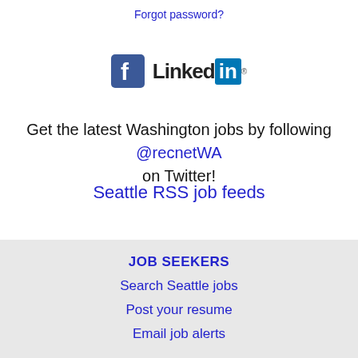Forgot password?
[Figure (logo): Facebook and LinkedIn social media logos side by side]
Get the latest Washington jobs by following @recnetWA on Twitter!
Seattle RSS job feeds
JOB SEEKERS
Search Seattle jobs
Post your resume
Email job alerts